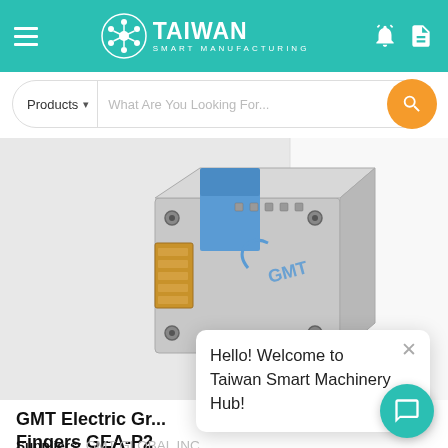TAIWAN SMART MANUFACTURING
[Figure (screenshot): GMT Electric Gripper product photo — a silver/blue metallic electric gripper module with GMT branding, showing angled block with gold-colored contacts]
GMT Electric Gripper with Parallel Fingers GEA-P2
GMT GEA-P2
# Electric Gripper   # Automation
Suppliers: GMT GLOBAL INC.
In recent years, with the issue of Industry 4.0, intelligent automated production has become a...
Hello! Welcome to Taiwan Smart Machinery Hub!